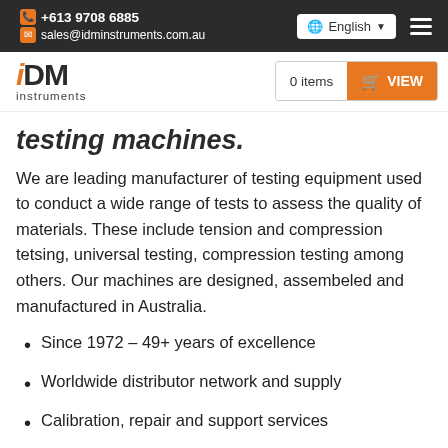+613 9708 6885 | sales@idminstruments.com.au | English
[Figure (logo): IDM Instruments logo with orange 'i' and cart showing 0 items and VIEW button]
testing machines.
We are leading manufacturer of testing equipment used to conduct a wide range of tests to assess the quality of materials. These include tension and compression tetsing, universal testing, compression testing among others. Our machines are designed, assembeled and manufactured in Australia.
Since 1972 – 49+ years of excellence
Worldwide distributor network and supply
Calibration, repair and support services